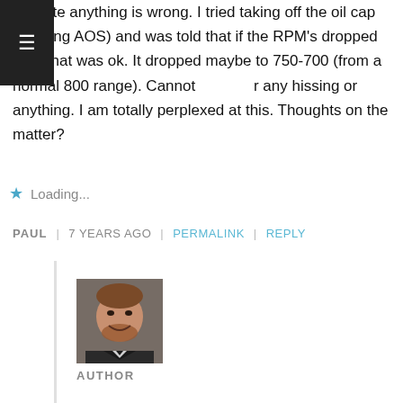indicate anything is wrong. I tried taking off the oil cap (thinking AOS) and was told that if the RPM’s dropped then that was ok. It dropped maybe to 750-700 (from a normal 800 range). Cannot hear any hissing or anything. I am totally perplexed at this. Thoughts on the matter?
★ Loading...
PAUL | 7 YEARS AGO | PERMALINK | REPLY
[Figure (photo): Headshot photo of a man with reddish-brown hair and beard, smiling, wearing a dark suit jacket]
AUTHOR
Paul, those two fault codes are indicating that both exhaust oxygen sensors are reading out of specification. It could be that both are bad, but it’s more likely it’s something in the intake causing an issue that both sensors are detecting. The most likely cause is the intake mass airflow sensor. It could also